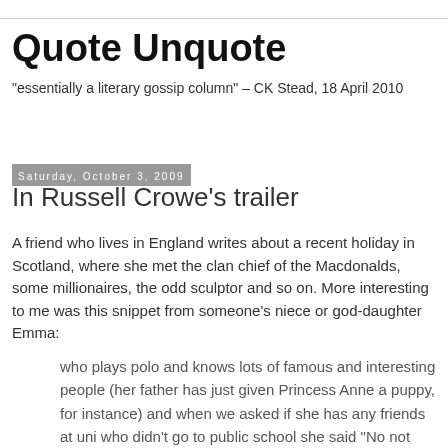Quote Unquote
“essentially a literary gossip column” – CK Stead, 18 April 2010
Saturday, October 3, 2009
In Russell Crowe’s trailer
A friend who lives in England writes about a recent holiday in Scotland, where she met the clan chief of the Macdonalds, some millionaires, the odd sculptor and so on. More interesting to me was this snippet from someone's niece or god-daughter Emma:
who plays polo and knows lots of famous and interesting people (her father has just given Princess Anne a puppy, for instance) and when we asked if she has any friends at uni who didn’t go to public school she said “No not really. Put it